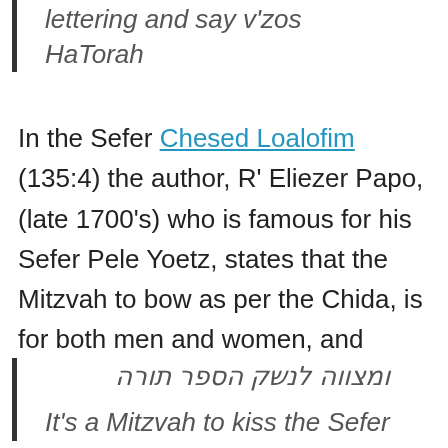lettering and say v'zos HaTorah
In the Sefer Chesed Loalofim (135:4) the author, R' Eliezer Papo, (late 1700's) who is famous for his Sefer Pele Yoetz, states that the Mitzvah to bow as per the Chida, is for both men and women, and
ומצווה לנשק הספר תורה
It's a Mitzvah to kiss the Sefer